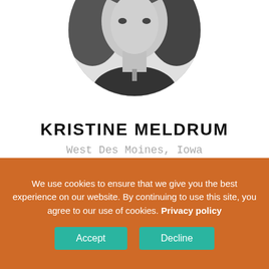[Figure (photo): Circular black and white profile photo of Kristine Meldrum, partially cropped at top, showing face and curly hair]
KRISTINE MELDRUM
West Des Moines, Iowa
[Figure (photo): Circular black and white photo of a person with long blonde hair and glasses on top of head, looking up at camera, partially visible as page cuts off]
We use cookies to ensure that we give you the best experience on our website. By continuing to use this site, you agree to our use of cookies. Privacy policy